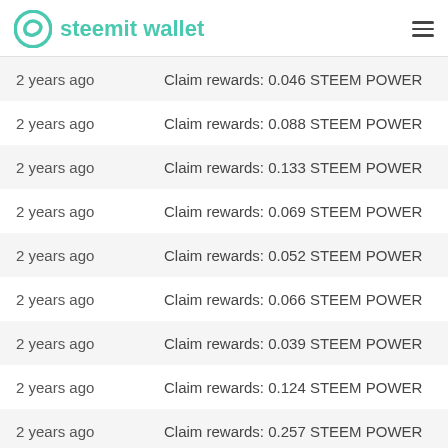steemit wallet
| Time | Transaction |
| --- | --- |
| 2 years ago | Claim rewards: 0.046 STEEM POWER |
| 2 years ago | Claim rewards: 0.088 STEEM POWER |
| 2 years ago | Claim rewards: 0.133 STEEM POWER |
| 2 years ago | Claim rewards: 0.069 STEEM POWER |
| 2 years ago | Claim rewards: 0.052 STEEM POWER |
| 2 years ago | Claim rewards: 0.066 STEEM POWER |
| 2 years ago | Claim rewards: 0.039 STEEM POWER |
| 2 years ago | Claim rewards: 0.124 STEEM POWER |
| 2 years ago | Claim rewards: 0.257 STEEM POWER |